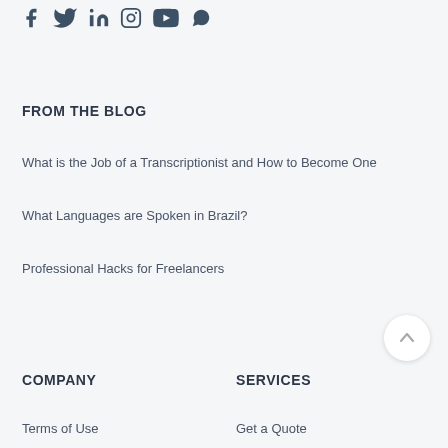[Figure (illustration): Row of social media icons: Facebook, Twitter, LinkedIn, Instagram, YouTube, WhatsApp in dark slate color]
FROM THE BLOG
What is the Job of a Transcriptionist and How to Become One
What Languages are Spoken in Brazil?
Professional Hacks for Freelancers
[Figure (illustration): Circular scroll-to-top button with upward arrow]
COMPANY
SERVICES
Terms of Use
Get a Quote